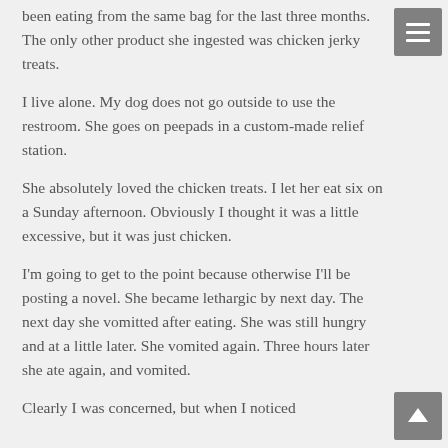been eating from the same bag for the last three months. The only other product she ingested was chicken jerky treats.
I live alone. My dog does not go outside to use the restroom. She goes on peepads in a custom-made relief station.
She absolutely loved the chicken treats. I let her eat six on a Sunday afternoon. Obviously I thought it was a little excessive, but it was just chicken.
I'm going to get to the point because otherwise I'll be posting a novel. She became lethargic by next day. The next day she vomitted after eating. She was still hungry and at a little later. She vomited again. Three hours later she ate again, and vomited.
Clearly I was concerned, but when I noticed